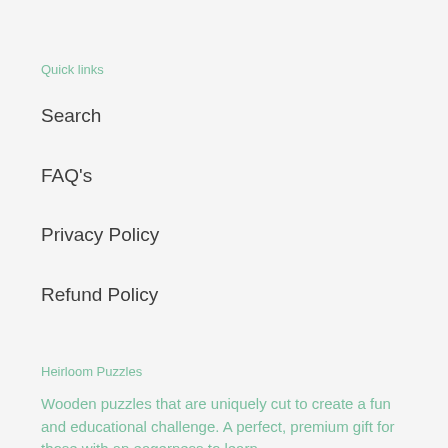Quick links
Search
FAQ's
Privacy Policy
Refund Policy
Heirloom Puzzles
Wooden puzzles that are uniquely cut to create a fun and educational challenge. A perfect, premium gift for those with an eagerness to learn.